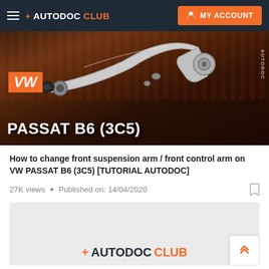+ AUTODOC CLUB  MY ACCOUNT
[Figure (screenshot): Video thumbnail showing a front suspension control arm (wishbone/A-arm) for VW PASSAT B6 (3C5), with orange VW badge overlay and model text 'PASSAT B6 (3C5)' at the bottom on a dark workshop background.]
How to change front suspension arm / front control arm on VW PASSAT B6 (3C5) [TUTORIAL AUTODOC]
27K views • Published on: 14/04/2020
[Figure (logo): Autodoc Club logo partial view at the bottom of a grey content box, showing '+ AUTODOC CLUB' in dark and orange colors.]